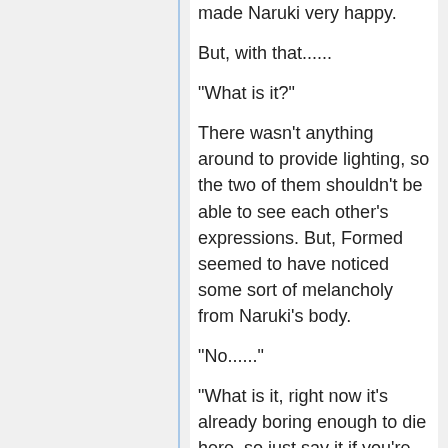made Naruki very happy.
But, with that......
"What is it?"
There wasn't anything around to provide lighting, so the two of them shouldn't be able to see each other's expressions. But, Formed seemed to have noticed some sort of melancholy from Naruki's body.
"No......"
"What is it, right now it's already boring enough to die here, so just say it if you're thinking about something."
"Can I?"
"Uh?"
"Can I really?"
"Nn, you can."